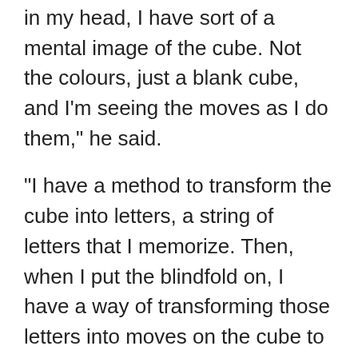in my head, I have sort of a mental image of the cube. Not the colours, just a blank cube, and I'm seeing the moves as I do them," he said.
"I have a method to transform the cube into letters, a string of letters that I memorize. Then, when I put the blindfold on, I have a way of transforming those letters into moves on the cube to solve it."
He says he was proud of the record, adding that he's been able to do it even faster at home.
He was one of dozens competing in a competition hosted by the World Cube Association. His talents have taken him far from home in Canada and south of the border. There